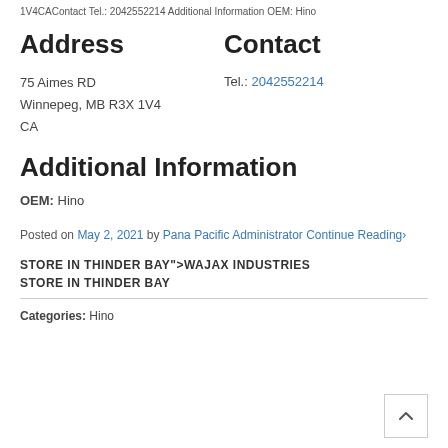1V4CAContact Tel.: 2042552214 Additional Information OEM: Hino
Address
Contact
75 Aimes RD
Winnepeg, MB R3X 1V4
CA
Tel.: 2042552214
Additional Information
OEM: Hino
Posted on May 2, 2021 by Pana Pacific Administrator Continue Reading›
STORE IN THINDER BAY">WAJAX INDUSTRIES STORE IN THINDER BAY
Categories: Hino